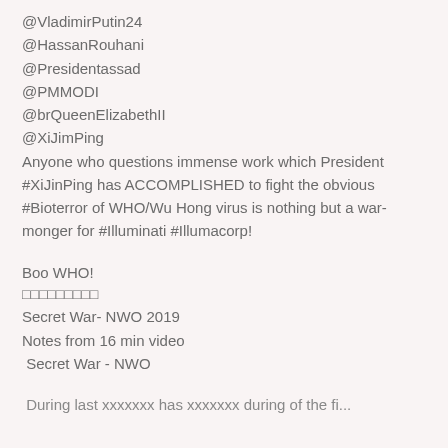@VladimirPutin24
@HassanRouhani
@Presidentassad
@PMMODI
@brQueenElizabethII
@XiJimPing
Anyone who questions immense work which President #XiJinPing has ACCOMPLISHED to fight the obvious #Bioterror of WHO/Wu Hong virus is nothing but a war-monger for #Illuminati #Illumacorp!
Boo WHO!
□□□□□□□□□
Secret War- NWO 2019
Notes from 16 min video
Secret War - NWO
During last xxxxxxx has xxxxxxx during of the fi...